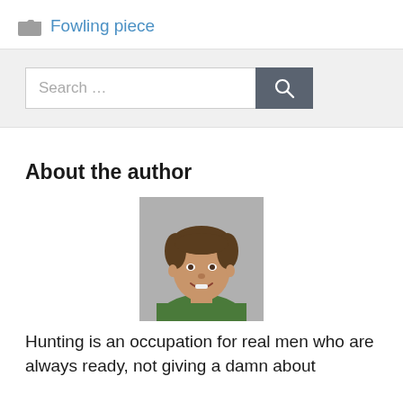Fowling piece
[Figure (screenshot): Search bar with text input field showing 'Search ...' placeholder and a dark grey search button with magnifying glass icon]
About the author
[Figure (photo): Headshot photo of a person with short brown hair, smiling, wearing a green top, against a grey background]
Hunting is an occupation for real men who are always ready, not giving a damn about